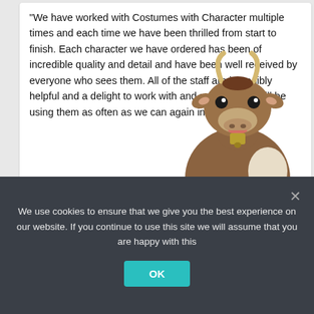“We have worked with Costumes with Character multiple times and each time we have been thrilled from start to finish. Each character we have ordered has been of incredible quality and detail and have been well received by everyone who sees them. All of the staff are incredibly helpful and a delight to work with and no doubt we will be using them as often as we can again in the future.”
[Figure (photo): A brown cow mascot costume character standing upright, with horns, a bell around its neck, and black hooves. The costume is full-body and realistic-looking.]
We use cookies to ensure that we give you the best experience on our website. If you continue to use this site we will assume that you are happy with this